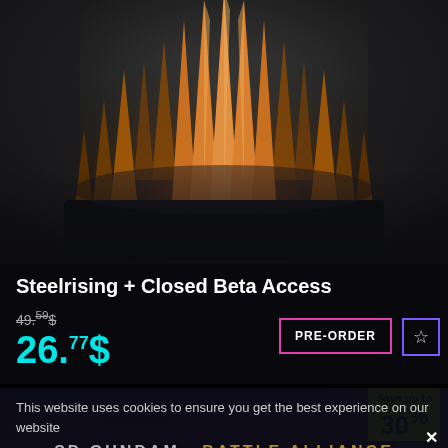[Figure (screenshot): Hero image showing Steelrising game artwork with golden spikes/crown-like armor piece on dark background]
Steelrising + Closed Beta Access
49.59$
26.77$
PRE-ORDER
[Figure (screenshot): SD Gundam Battle Alliance game banner with dark purple/red background and mecha artwork]
Save up to 30%
This website uses cookies to ensure you get the best experience on our website
SD GUNDAM BATTLE ALLIANCE
Learn More
Decline
Allow All